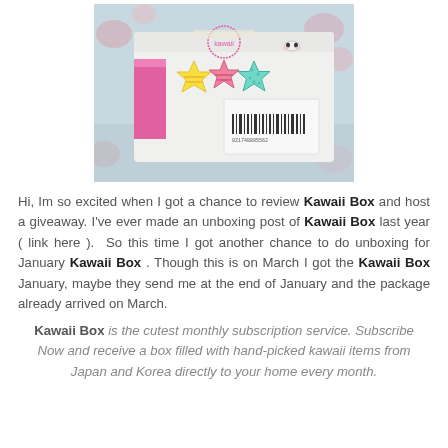[Figure (photo): A white shipping box with pink branding and kawaii star stickers on top, sitting on a floral patterned surface. The box has a barcode label and cute face drawn on it.]
Hi, Im so excited when I got a chance to review Kawaii Box and host a giveaway. I've ever made an unboxing post of Kawaii Box last year ( link here ). So this time I got another chance to do unboxing for January Kawaii Box . Though this is on March I got the Kawaii Box January, maybe they send me at the end of January and the package already arrived on March.
Kawaii Box is the cutest monthly subscription service. Subscribe Now and receive a box filled with hand-picked kawaii items from Japan and Korea directly to your home every month.